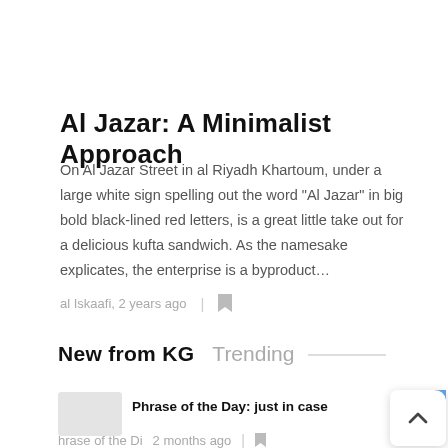Al Jazar: A Minimalist Approach
On Al Jazar Street in al Riyadh Khartoum, under a large white sign spelling out the word “Al Jazar” in big bold black-lined red letters, is a great little take out for a delicious kufta sandwich. As the namesake explicates, the enterprise is a byproduct…
al Iskaafi, 2 years ago  |
New from KG   Trending
Phrase of the Day: just in case
hrase of the Di  2 months ago  |